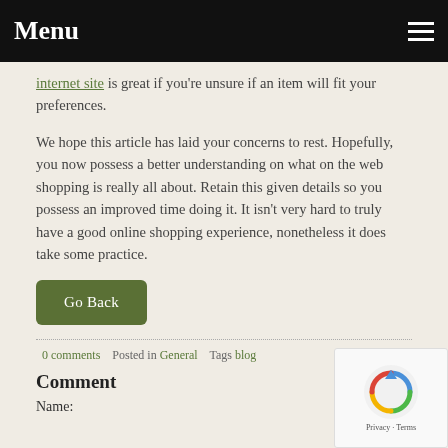Menu
internet site is great if you're unsure if an item will fit your preferences.
We hope this article has laid your concerns to rest. Hopefully, you now possess a better understanding on what on the web shopping is really all about. Retain this given details so you possess an improved time doing it. It isn't very hard to truly have a good online shopping experience, nonetheless it does take some practice.
Go Back
0 comments   Posted in General   Tags blog
Comment
Name: